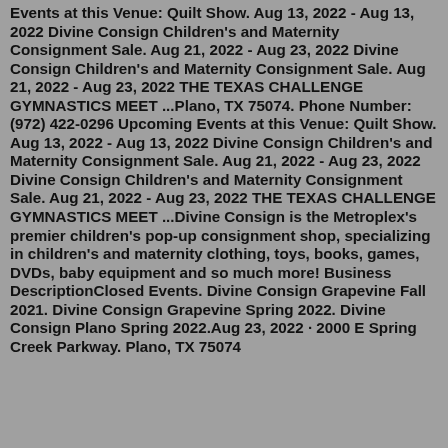Events at this Venue: Quilt Show. Aug 13, 2022 - Aug 13, 2022 Divine Consign Children's and Maternity Consignment Sale. Aug 21, 2022 - Aug 23, 2022 Divine Consign Children's and Maternity Consignment Sale. Aug 21, 2022 - Aug 23, 2022 THE TEXAS CHALLENGE GYMNASTICS MEET ...Plano, TX 75074. Phone Number: (972) 422-0296 Upcoming Events at this Venue: Quilt Show. Aug 13, 2022 - Aug 13, 2022 Divine Consign Children's and Maternity Consignment Sale. Aug 21, 2022 - Aug 23, 2022 Divine Consign Children's and Maternity Consignment Sale. Aug 21, 2022 - Aug 23, 2022 THE TEXAS CHALLENGE GYMNASTICS MEET ...Divine Consign is the Metroplex's premier children's pop-up consignment shop, specializing in children's and maternity clothing, toys, books, games, DVDs, baby equipment and so much more! Business DescriptionClosed Events. Divine Consign Grapevine Fall 2021. Divine Consign Grapevine Spring 2022. Divine Consign Plano Spring 2022.Aug 23, 2022 · 2000 E Spring Creek Parkway. Plano, TX 75074